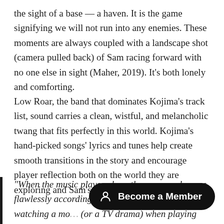the sight of a base — a haven. It is the game signifying we will not run into any enemies. These moments are always coupled with a landscape shot (camera pulled back) of Sam racing forward with no one else in sight (Maher, 2019). It's both lonely and comforting.
Low Roar, the band that dominates Kojima's track list, sound carries a clean, wistful, and melancholic twang that fits perfectly in this world. Kojima's hand-picked songs' lyrics and tunes help create smooth transitions in the story and encourage player reflection both on the world they are exploring and Sam's story they are following.
“When the music plays, where the camera changes flawlessly according to the p[…] feel like they are watching a mo[…] (or a TV drama) when playing the game.”